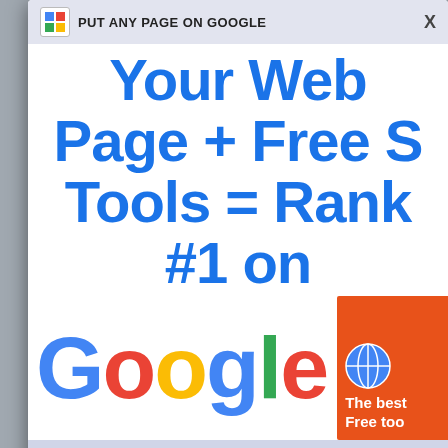[Figure (screenshot): Browser popup overlay showing an advertisement: 'PUT ANY PAGE ON GOOGLE' with an 'X' close button. Inside shows a banner ad with blue bold text 'Your Web Page + Free S... Tools = Rank #1 on' and a Google logo alongside an orange box with globe icon and text 'The best Free too'. Below the popup is 'Best Free SEO Tools' label.]
[Figure (photo): Person lying on a bed, appears to be sleeping, photographed from above.]
However,
researchers have studied the art and act of sleeping and voluminous benefits and advantages have been